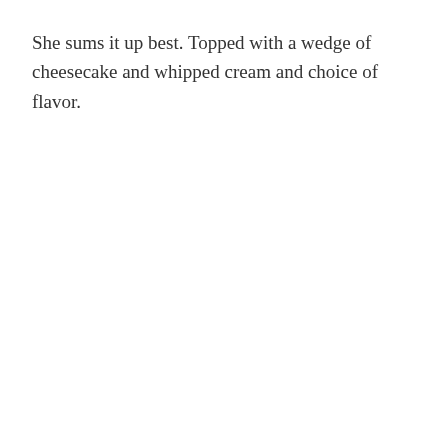She sums it up best. Topped with a wedge of cheesecake and whipped cream and choice of flavor.